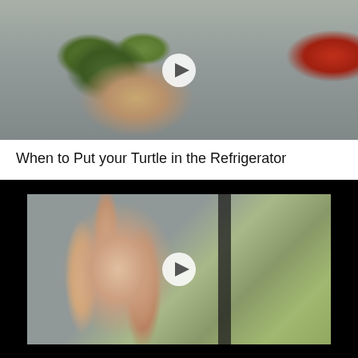[Figure (photo): Video thumbnail showing a hand holding a green bumpy vegetable (celeriac/turtle) in front of a refrigerator, with a red tomato visible on the right. A circular white play button overlay is centered on the image.]
When to Put your Turtle in the Refrigerator
[Figure (screenshot): Video thumbnail with black letterbox bars showing a young woman with dark and reddish-pink hair looking slightly upward, seated near a window with greenery outside. A vertical dark bar (possibly a door frame or bike frame) is visible. A circular white play button overlay is centered on the image.]